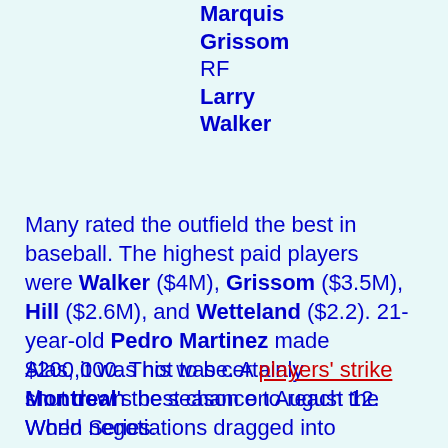Marquis Grissom
RF
Larry Walker
Many rated the outfield the best in baseball. The highest paid players were Walker ($4M), Grissom ($3.5M), Hill ($2.6M), and Wetteland ($2.2). 21-year-old Pedro Martinez made $200,000. This was certainly Montreal's best chance to reach the World Series.
Alas, it was not to be. A players' strike shut down the season on August 12. When negotiations dragged into